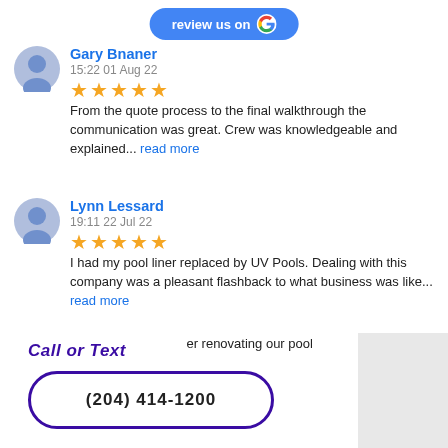[Figure (other): Blue 'review us on Google' button with Google G logo]
Gary Bnaner
15:22 01 Aug 22
★★★★★ From the quote process to the final walkthrough the communication was great. Crew was knowledgeable and explained... read more
Lynn Lessard
19:11 22 Jul 22
★★★★★ I had my pool liner replaced by UV Pools. Dealing with this company was a pleasant flashback to what business was like... read more
Matthew David
13:14 12 Jul 22
★★★★★ Extremely impressed with the multiple [services] after renovating our pool
Call or Text
(204) 414-1200